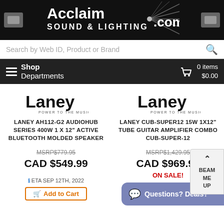[Figure (logo): Acclaim Sound & Lighting .com logo on black background with two gray icon buttons on either side]
Search by Web ID, Product or Brand
Shop Departments | 0 items $0.00
[Figure (logo): Laney Power to the Music logo - left product]
LANEY AH112-G2 AUDIOHUB SERIES 400W 1 X 12" ACTIVE BLUETOOTH MOLDED SPEAKER
MSRP$779.95
CAD $549.99
ETA SEP 12TH, 2022
[Figure (logo): Laney Power to the Music logo - right product]
LANEY CUB-SUPER12 15W 1X12" TUBE GUITAR AMPLIFIER COMBO CUB-SUPER-12
MSRP$1,429.95
CAD $969.99
ON SALE!
Questions? Deals?